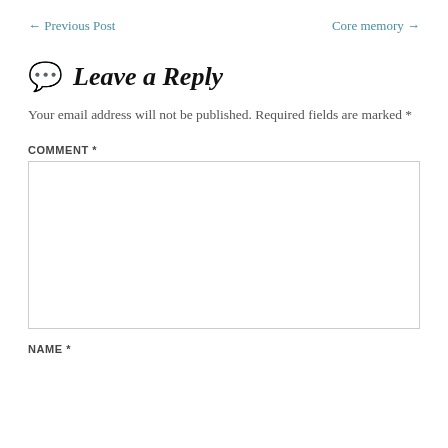← Previous Post    Core memory →
Leave a Reply
Your email address will not be published. Required fields are marked *
COMMENT *
NAME *